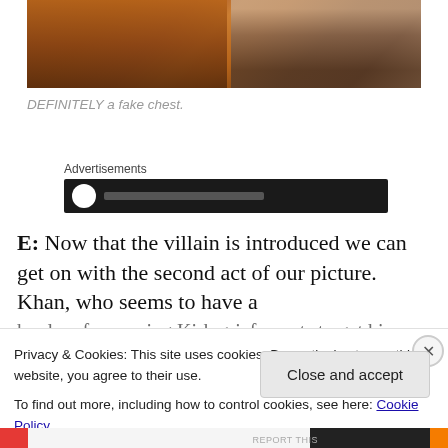[Figure (photo): A screenshot from a film or TV show showing figures in costume — the left figure appears to be a muscular person in a brown open vest with a decorative necklace, and on the right a blonde person stands partially visible, with a dark-clad figure behind them. The scene has warm brown tones.]
DEFINITELY a fake chest.
Advertisements
[Figure (screenshot): A dark advertisement banner with a white circle icon and grey text bar.]
E: Now that the villain is introduced we can get on with the second act of our picture. Khan, who seems to have a hard on for causing Kirk grief, wants to get his vengeance...
Privacy & Cookies: This site uses cookies. By continuing to use this website, you agree to their use.
To find out more, including how to control cookies, see here: Cookie Policy